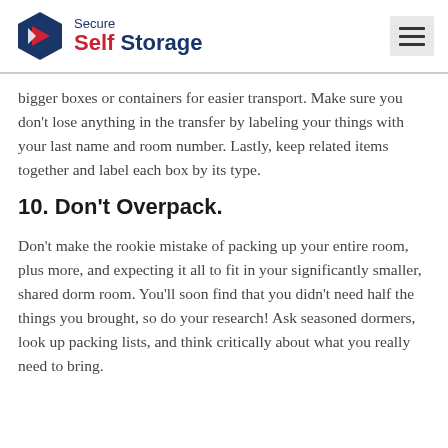Secure Self Storage
bigger boxes or containers for easier transport. Make sure you don't lose anything in the transfer by labeling your things with your last name and room number. Lastly, keep related items together and label each box by its type.
10. Don't Overpack.
Don't make the rookie mistake of packing up your entire room, plus more, and expecting it all to fit in your significantly smaller, shared dorm room. You'll soon find that you didn't need half the things you brought, so do your research! Ask seasoned dormers, look up packing lists, and think critically about what you really need to bring.